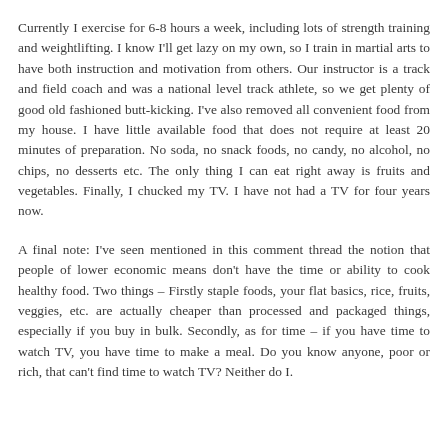Currently I exercise for 6-8 hours a week, including lots of strength training and weightlifting. I know I'll get lazy on my own, so I train in martial arts to have both instruction and motivation from others. Our instructor is a track and field coach and was a national level track athlete, so we get plenty of good old fashioned butt-kicking. I've also removed all convenient food from my house. I have little available food that does not require at least 20 minutes of preparation. No soda, no snack foods, no candy, no alcohol, no chips, no desserts etc. The only thing I can eat right away is fruits and vegetables. Finally, I chucked my TV. I have not had a TV for four years now.
A final note: I've seen mentioned in this comment thread the notion that people of lower economic means don't have the time or ability to cook healthy food. Two things – Firstly staple foods, your flat basics, rice, fruits, veggies, etc. are actually cheaper than processed and packaged things, especially if you buy in bulk. Secondly, as for time – if you have time to watch TV, you have time to make a meal. Do you know anyone, poor or rich, that can't find time to watch TV? Neither do I.